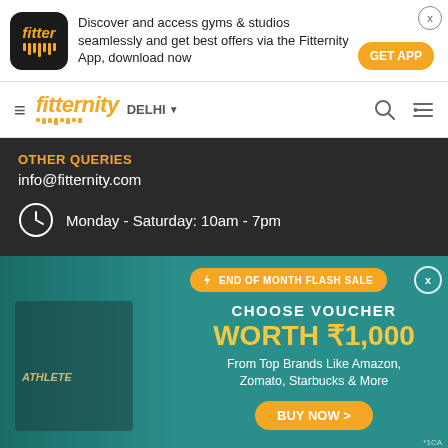[Figure (screenshot): Fitternity app download banner with logo, tagline, and GET APP button]
[Figure (screenshot): Fitternity navigation bar with hamburger menu, logo, DELHI city selector, search and filter icons]
OTHER QUERIES
info@fitternity.com
Monday - Saturday: 10am - 7pm
[Figure (photo): End of Month Flash Sale promotional banner with athlete doing battle ropes, voucher worth ₹1,000 from top brands like Amazon, Zomato, Starbucks & More, and BUY NOW button]